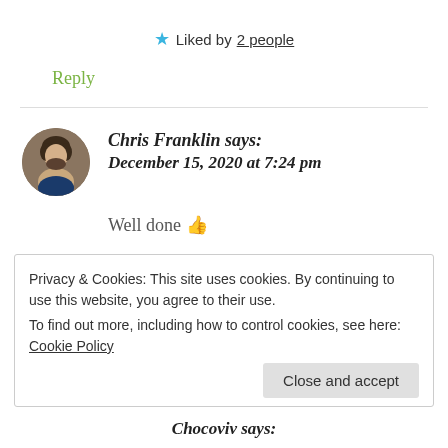★ Liked by 2 people
Reply
Chris Franklin says: December 15, 2020 at 7:24 pm
Well done 👍
Privacy & Cookies: This site uses cookies. By continuing to use this website, you agree to their use. To find out more, including how to control cookies, see here: Cookie Policy
Close and accept
Chocoviv says: